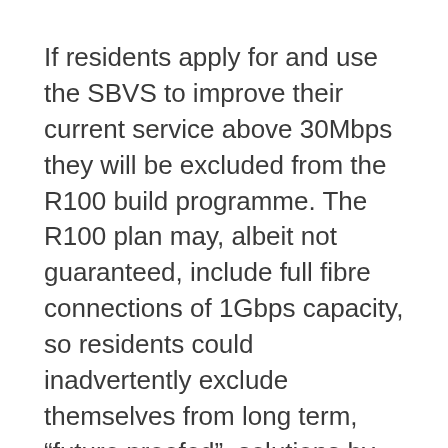If residents apply for and use the SBVS to improve their current service above 30Mbps they will be excluded from the R100 build programme. The R100 plan may, albeit not guaranteed, include full fibre connections of 1Gbps capacity, so residents could inadvertently exclude themselves from long term, “future proofed”, solutions by acting too quickly.
If, on the other hand, residents are eventually told that they are not included in the R100 plan they will be eligible to use the SBVS for any improvements they can find but will have had to endure a further 6-9